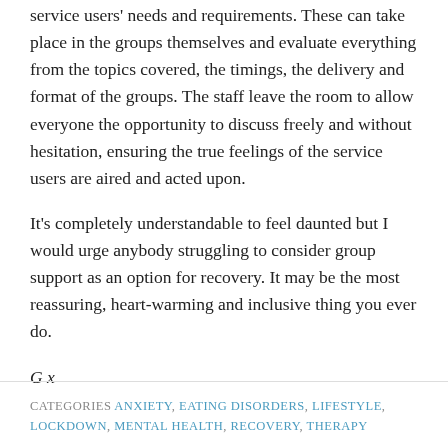service users' needs and requirements. These can take place in the groups themselves and evaluate everything from the topics covered, the timings, the delivery and format of the groups. The staff leave the room to allow everyone the opportunity to discuss freely and without hesitation, ensuring the true feelings of the service users are aired and acted upon.
It's completely understandable to feel daunted but I would urge anybody struggling to consider group support as an option for recovery. It may be the most reassuring, heart-warming and inclusive thing you ever do.
G x
CATEGORIES ANXIETY, EATING DISORDERS, LIFESTYLE, LOCKDOWN, MENTAL HEALTH, RECOVERY, THERAPY